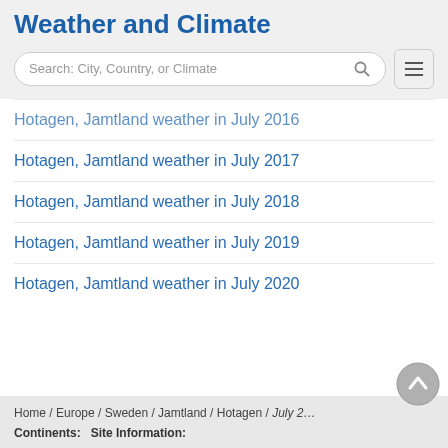Weather and Climate
Search: City, Country, or Climate
Hotagen, Jamtland weather in July 2016
Hotagen, Jamtland weather in July 2017
Hotagen, Jamtland weather in July 2018
Hotagen, Jamtland weather in July 2019
Hotagen, Jamtland weather in July 2020
Home / Europe / Sweden / Jamtland / Hotagen / July 2…
Continents: | Site Information: